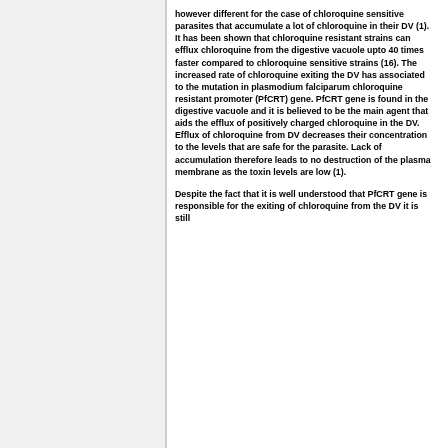however different for the case of chloroquine sensitive parasites that accumulate a lot of chloroquine in their DV (1). It has been shown that chloroquine resistant strains can efflux chloroquine from the digestive vacuole upto 40 times faster compared to chloroquine sensitive strains (16). The increased rate of chloroquine exiting the DV has associated to the mutation in plasmodium falciparum chloroquine resistant promoter (PfCRT) gene. PfCRT gene is found in the digestive vacuole and it is believed to be the main agent that aids the efflux of positively charged chloroquine in the DV. Efflux of chloroquine from DV decreases their concentration to the levels that are safe for the parasite. Lack of accumulation therefore leads to no destruction of the plasma membrane as the toxin levels are low (1).
Despite the fact that it is well understood that PfCRT gene is responsible for the exiting of chloroquine from the DV it is still